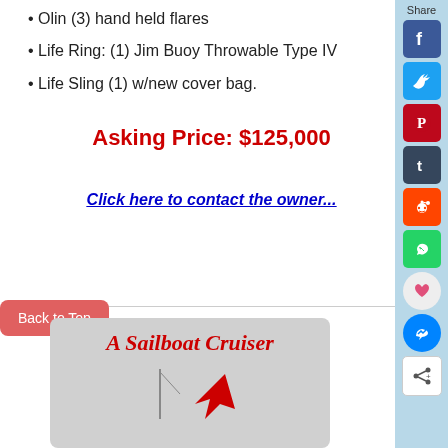• Olin (3) hand held flares
• Life Ring: (1) Jim Buoy Throwable Type IV
• Life Sling (1) w/new cover bag.
Asking Price: $125,000
Click here to contact the owner...
[Figure (illustration): A Sailboat Cruiser advertisement banner with red italic text and a red arrow pointing to a sailboat mast image]
Back to Top
Share